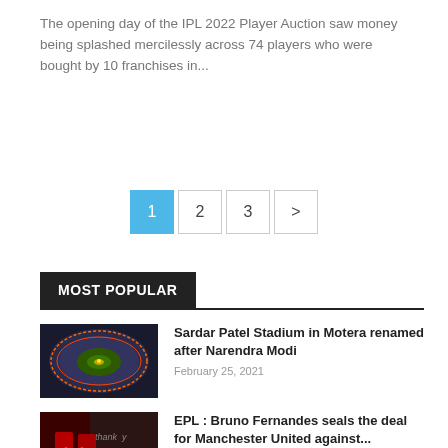The opening day of the IPL 2022 Player Auction saw money being splashed mercilessly across 74 players who were bought by 10 franchises in...
1
2
3
>
MOST POPULAR
[Figure (photo): Aerial view of Sardar Patel Stadium in Motera, showing circular stadium with green pitch lit up at night]
Sardar Patel Stadium in Motera renamed after Narendra Modi
February 25, 2021
[Figure (photo): Two Manchester United players in red jerseys shaking hands with text 'thank y' visible in background]
EPL : Bruno Fernandes seals the deal for Manchester United against...
November 22, 2020